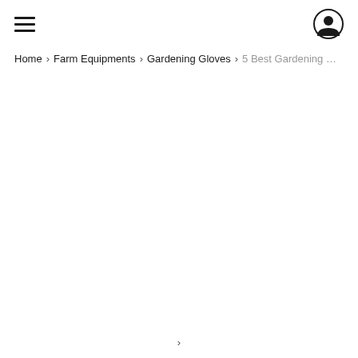Navigation header with hamburger menu and user icon
Home › Farm Equipments › Gardening Gloves › 5 Best Gardening …